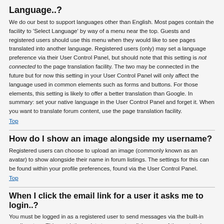Language..?
We do our best to support languages other than English. Most pages contain the facility to 'Select Language' by way of a menu near the top. Guests and registered users should use this menu when they would like to see pages translated into another language. Registered users (only) may set a language preference via their User Control Panel, but should note that this setting is not connected to the page translation facility. The two may be connected in the future but for now this setting in your User Control Panel will only affect the language used in common elements such as forms and buttons. For those elements, this setting is likely to offer a better translation than Google. In summary: set your native language in the User Control Panel and forget it. When you want to translate forum content, use the page translation facility.
Top
How do I show an image alongside my username?
Registered users can choose to upload an image (commonly known as an avatar) to show alongside their name in forum listings. The settings for this can be found within your profile preferences, found via the User Control Panel.
Top
When I click the email link for a user it asks me to login..?
You must be logged in as a registered user to send messages via the built-in email system. This restriction exists to prevent malicious use of the system by anonymous users.
Top